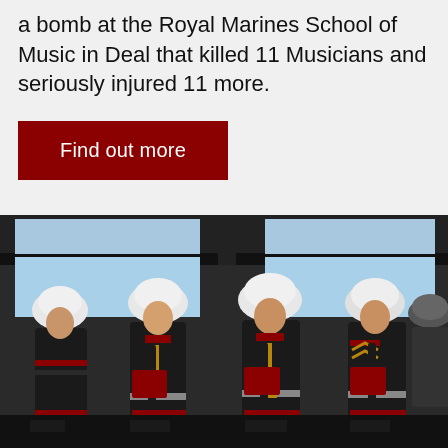a bomb at the Royal Marines School of Music in Deal that killed 11 Musicians and seriously injured 11 more.
Find out more
[Figure (photo): Royal Marines band musicians in black dress uniforms with white helmets and red sashes, playing clarinets and other instruments outdoors, with a metal structure visible in the background.]